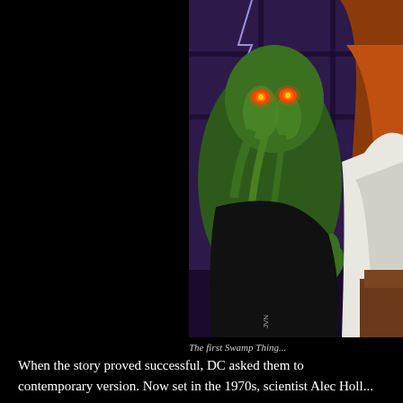[Figure (illustration): Comic book illustration showing Swamp Thing, a green monstrous humanoid creature with glowing red eyes and tendrils/plant-like features, looming menacingly over a woman with long hair who is seated at a desk. Dark purple/black background with grid-like window. Artist signature 'JVN' visible.]
The first Swamp Thing...
When the story proved successful, DC asked them to contemporary version. Now set in the 1970s, scientist Alec Holl...